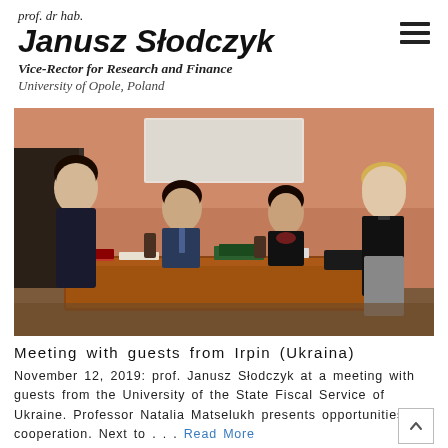prof. dr hab.
Janusz Słodczyk
Vice-Rector for Research and Finance
University of Opole, Poland
[Figure (photo): Four people in a meeting room with a large wooden conference table. A woman on the left stands near a dark cabinet, a man in a suit sits center-left, a woman in dark clothing sits center-right, and a woman in dark top stands on the right gesturing. Papers and books on the table. Salmon/terracotta colored walls, whiteboard in background.]
Meeting with guests from Irpin (Ukraina)
November 12, 2019: prof. Janusz Słodczyk at a meeting with guests from the University of the State Fiscal Service of Ukraine. Professor Natalia Matselukh presents opportunities for cooperation. Next to . . . Read More